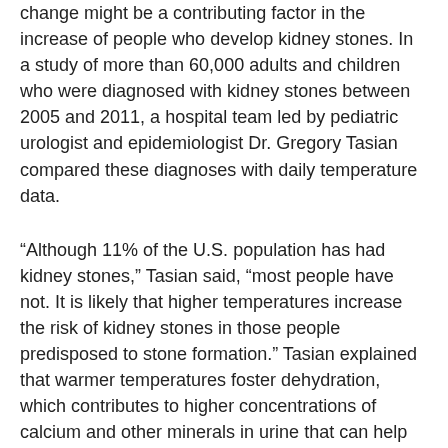change might be a contributing factor in the increase of people who develop kidney stones. In a study of more than 60,000 adults and children who were diagnosed with kidney stones between 2005 and 2011, a hospital team led by pediatric urologist and epidemiologist Dr. Gregory Tasian compared these diagnoses with daily temperature data.
“Although 11% of the U.S. population has had kidney stones,” Tasian said, “most people have not. It is likely that higher temperatures increase the risk of kidney stones in those people predisposed to stone formation.” Tasian explained that warmer temperatures foster dehydration, which contributes to higher concentrations of calcium and other minerals in urine that can help form the obstructions.
“Kidney stone prevalence has already been on the rise over the last 30 years,” Tasian said, “and we can expect this trend to continue, both